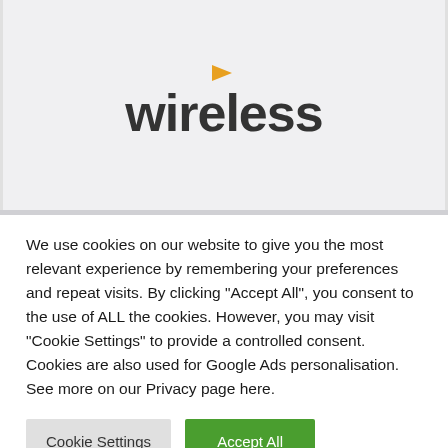[Figure (logo): Wireless logo: lowercase 'wireless' in bold dark gray with a small orange/yellow play triangle above the letter 'i', on a light gray background]
We use cookies on our website to give you the most relevant experience by remembering your preferences and repeat visits. By clicking "Accept All", you consent to the use of ALL the cookies. However, you may visit "Cookie Settings" to provide a controlled consent. Cookies are also used for Google Ads personalisation. See more on our Privacy page here.